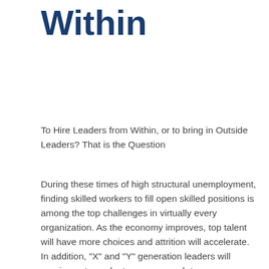Within
To Hire Leaders from Within, or to bring in Outside Leaders? That is the Question
During these times of high structural unemployment, finding skilled workers to fill open skilled positions is among the top challenges in virtually every organization. As the economy improves, top talent will have more choices and attrition will accelerate. In addition, "X" and "Y" generation leaders will require us to evaluate our approach to career progression/options, work-life balance and global factors. This, along with strategic uncertainty, the impact of social media and data overload, and the increasing velocity of business, indicates mounting people challenges ahead for businesses large and